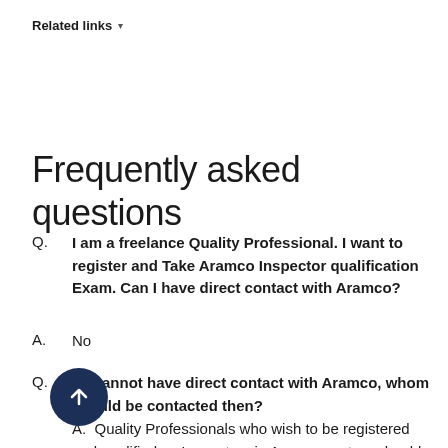Related links ▾
Frequently asked questions
Q. I am a freelance Quality Professional. I want to register and Take Aramco Inspector qualification Exam. Can I have direct contact with Aramco?
A. No
Q. If I cannot have direct contact with Aramco, whom should be contacted then?
A. Quality Professionals who wish to be registered and qualified as Inspectors in Aramco system should enroll